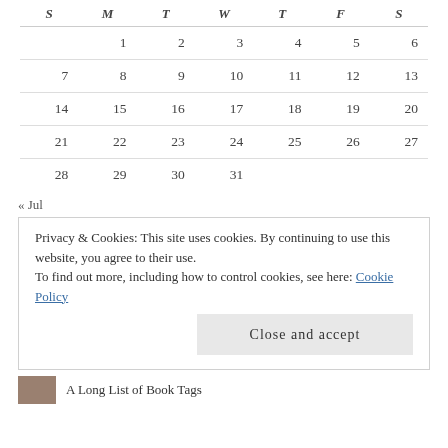| S | M | T | W | T | F | S |
| --- | --- | --- | --- | --- | --- | --- |
|  | 1 | 2 | 3 | 4 | 5 | 6 |
| 7 | 8 | 9 | 10 | 11 | 12 | 13 |
| 14 | 15 | 16 | 17 | 18 | 19 | 20 |
| 21 | 22 | 23 | 24 | 25 | 26 | 27 |
| 28 | 29 | 30 | 31 |  |  |  |
« Jul
Privacy & Cookies: This site uses cookies. By continuing to use this website, you agree to their use.
To find out more, including how to control cookies, see here: Cookie Policy
Close and accept
A Long List of Book Tags